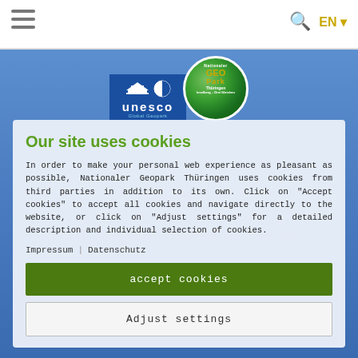≡  🔍 EN ▾
[Figure (logo): UNESCO Global Geopark logo and Nationaler GEOPark Thüringen Inselberg-Drei Gleichen globe logo]
Our site uses cookies
In order to make your personal web experience as pleasant as possible, Nationaler Geopark Thüringen uses cookies from third parties in addition to its own. Click on "Accept cookies" to accept all cookies and navigate directly to the website, or click on "Adjust settings" for a detailed description and individual selection of cookies.
Impressum | Datenschutz
accept cookies
Adjust settings